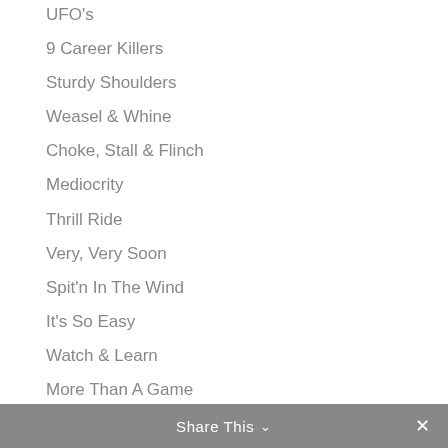UFO's
9 Career Killers
Sturdy Shoulders
Weasel & Whine
Choke, Stall & Flinch
Mediocrity
Thrill Ride
Very, Very Soon
Spit'n In The Wind
It's So Easy
Watch & Learn
More Than A Game
Share This ∨  ✕